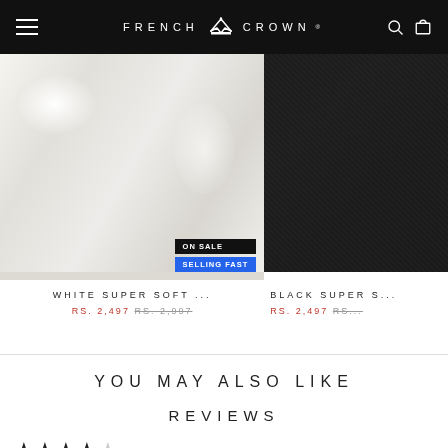FRENCH CROWN
[Figure (photo): White super soft fabric close-up with ON SALE and SELLING FAST badges]
[Figure (photo): Black super soft fabric close-up, partial view]
WHITE SUPER SOFT ...
RS. 2,497 RS. 2,997
BLACK SUPER S...
RS. 2,497 RS...
YOU MAY ALSO LIKE
REVIEWS
★★★★☆
PRODUCTS ARE ORIGINAL AND VERY GOOD..